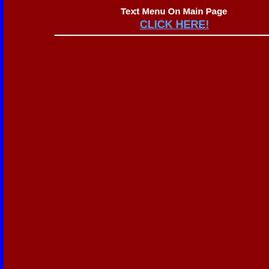Text Menu On Main Page
CLICK HERE!
[Figure (screenshot): Mansfield banner advertisement with car, birdhouse, and building. Tagline: It Pays To Belong]
CLICK
Reynard Interiors
C Susan Randall, Interior Dsg
Davies Interiors
Rain Tree Limited
Home Collection